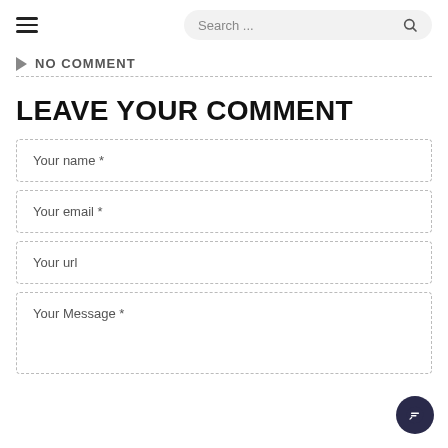≡  Search ...
▷ NO COMMENT
LEAVE YOUR COMMENT
Your name *
Your email *
Your url
Your Message *